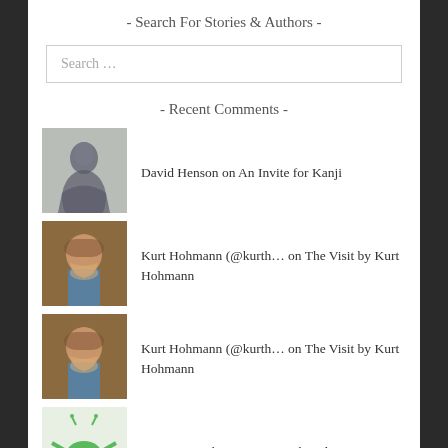- Search For Stories & Authors -
Search …
- Recent Comments -
David Henson on An Invite for Kanji
Kurt Hohmann (@kurth… on The Visit by Kurt Hohmann
Kurt Hohmann (@kurth… on The Visit by Kurt Hohmann
Steven French on Orange Fish and Cigarettes
Steven French on An Invite for Kanji